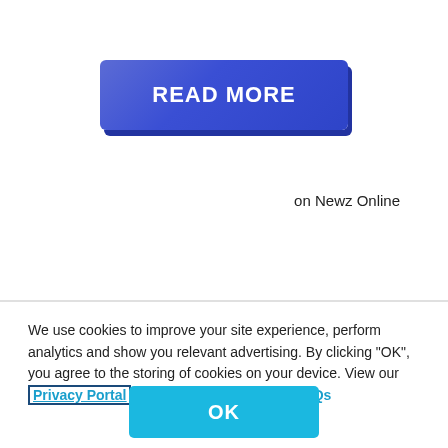[Figure (other): A blue gradient 'READ MORE' button with drop shadow]
on Newz Online
We use cookies to improve your site experience, perform analytics and show you relevant advertising. By clicking "OK", you agree to the storing of cookies on your device. View our Privacy Portal  Cookie Policy &  Cookie FAQs
[Figure (other): A cyan 'OK' button]